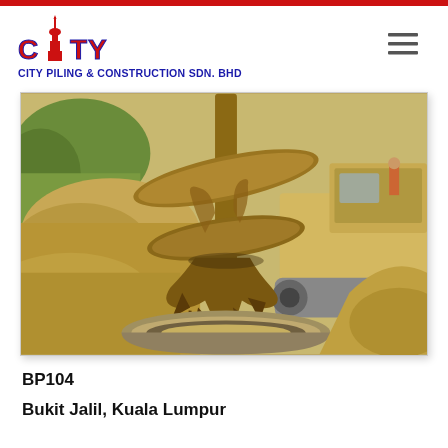[Figure (logo): City Piling and Construction Sdn. Bhd. logo with tower icon and CITY text in red/blue]
CITY PILING & CONSTRUCTION SDN. BHD
[Figure (photo): Close-up photograph of a large auger/drill bit on a piling machine at a construction site, with excavated earth and a tracked excavator visible in the background, Bukit Jalil, Kuala Lumpur]
BP104
Bukit Jalil, Kuala Lumpur